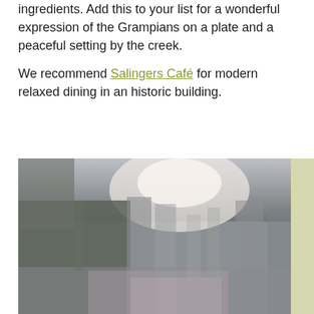ingredients. Add this to your list for a wonderful expression of the Grampians on a plate and a peaceful setting by the creek.

We recommend Salingers Café for modern relaxed dining in an historic building.
[Figure (photo): A blurred outdoor scenic photo, likely a landscape or outdoor dining setting near a creek, with soft muted tones of green, grey, and pink/white light in the upper centre.]